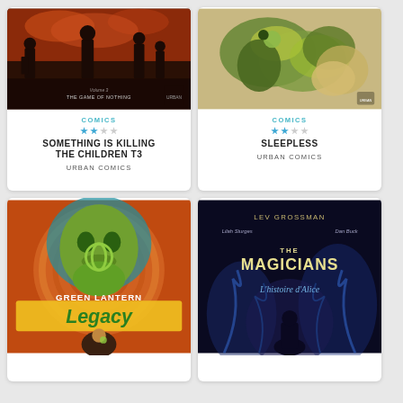[Figure (illustration): Comic book cover: Something is Killing the Children T3 - The Game of Nothing, Volume 3, dark reddish-brown tones with characters silhouetted]
COMICS
SOMETHING IS KILLING THE CHILDREN T3
URBAN COMICS
[Figure (illustration): Comic book cover: Sleepless - colorful illustration with green and yellow figures intertwined]
COMICS
SLEEPLESS
URBAN COMICS
[Figure (illustration): Comic book cover: Green Lantern Legacy - colorful cover featuring large green alien face and young hero with Green Lantern ring]
[Figure (illustration): Comic book cover: The Magicians - L'histoire d'Alice, dark blue/purple tones with LEV GROSSMAN attribution, Lilah Sturges and Dan Buck credits]